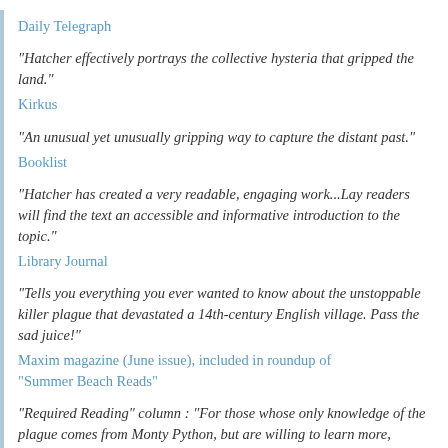Daily Telegraph
"Hatcher effectively portrays the collective hysteria that gripped the land."
Kirkus
"An unusual yet unusually gripping way to capture the distant past."
Booklist
"Hatcher has created a very readable, engaging work...Lay readers will find the text an accessible and informative introduction to the topic."
Library Journal
"Tells you everything you ever wanted to know about the unstoppable killer plague that devastated a 14th-century English village. Pass the sad juice!"
Maxim magazine (June issue), included in roundup of "Summer Beach Reads"
"Required Reading" column : "For those whose only knowledge of the plague comes from Monty Python, but are willing to learn more, Cambridge Professor Hatcher takes a serious, but very